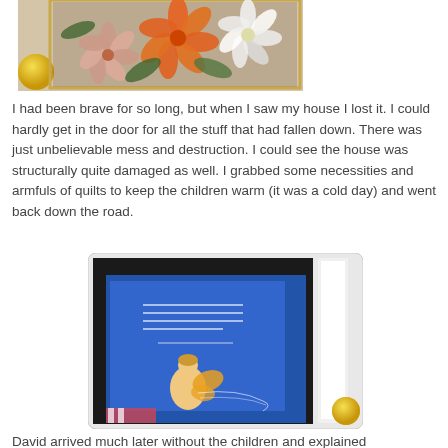[Figure (photo): Photo of orange, white, and pink flowers with green leaves, slightly blurred, with a gold-framed mirror or artwork and a yellow spherical object on the left side.]
I had been brave for so long, but when I saw my house I lost it. I could hardly get in the door for all the stuff that had fallen down. There was just unbelievable mess and destruction. I could see the house was structurally quite damaged as well. I grabbed some necessities and armfuls of quilts to keep the children warm (it was a cold day) and went back down the road.
[Figure (photo): Photo of a framed inspirational print with a blue background, featuring a fairy/angel illustration and a quote by Elizabeth Cady Stanton. A white candle and yellow object are visible on the right side.]
David arrived much later without the children and explained